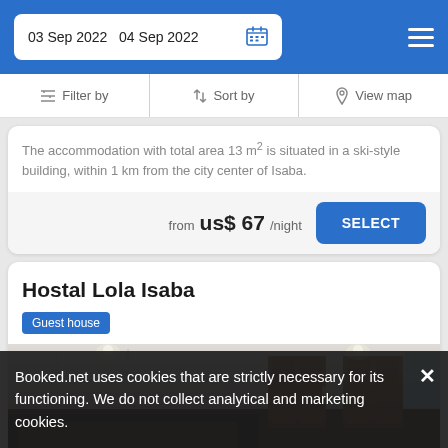03 Sep 2022  04 Sep 2022
Filter by  Sort by  View map
The accommodation with total area 13 m² is situated in a ski-style building, within 1 km from the city center of Isaba.
from us$ 67/night
Hostal Lola Isaba
Guest house
[Figure (photo): Interior room photo of Hostal Lola Isaba showing white stone walls and wooden doors]
Booked.net uses cookies that are strictly necessary for its functioning. We do not collect analytical and marketing cookies.